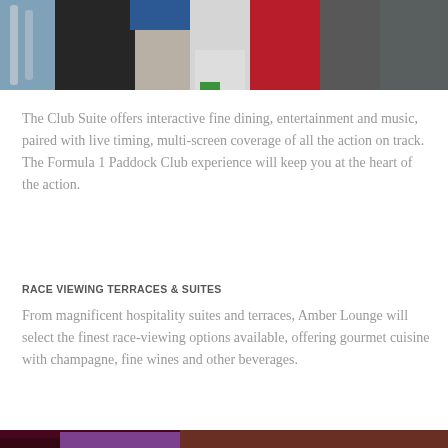[Figure (photo): Group of people standing outdoors on a sunny day, partial view from waist down, including someone in white shorts, red outfit, and jeans.]
The Club Suite offers interactive fine dining, entertainment and music, paired with live timing, multi-screen coverage of all the action on track. The Formula 1 Paddock Club experience will keep you at the heart of the action.
RACE VIEWING TERRACES & SUITES
From magnificent hospitality suites and terraces, Amber Lounge will select the finest race-viewing options available, offering gourmet cuisine with champagne, fine wines and other beverages.
[Figure (photo): Two men in a dimly lit venue with warm lighting. One man wearing a purple shirt with a lanyard, another with curly hair.]